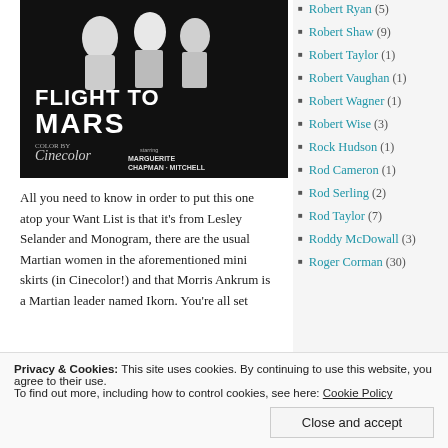[Figure (photo): Black and white movie poster for 'Flight to Mars' in Cinecolor, starring Marguerite Chapman and Cameron Mitchell, with Arthur Franz and Virginia Huston.]
All you need to know in order to put this one atop your Want List is that it's from Lesley Selander and Monogram, there are the usual Martian women in the aforementioned mini skirts (in Cinecolor!) and that Morris Ankrum is a Martian leader named Ikorn. You're all set
Robert Ryan (5)
Robert Shaw (9)
Robert Taylor (1)
Robert Vaughan (1)
Robert Wagner (1)
Robert Wise (3)
Rock Hudson (1)
Rod Cameron (1)
Rod Serling (2)
Rod Taylor (7)
Roddy McDowall (3)
Roger Corman (30)
Privacy & Cookies: This site uses cookies. By continuing to use this website, you agree to their use.
To find out more, including how to control cookies, see here: Cookie Policy
Close and accept